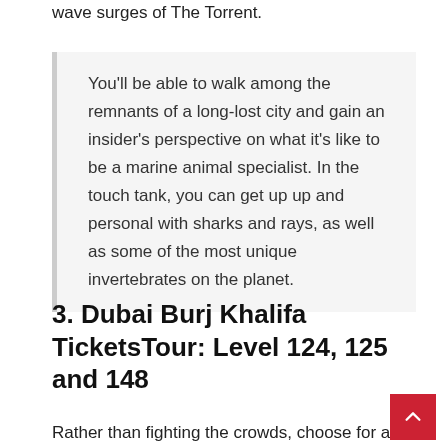wave surges of The Torrent.
You'll be able to walk among the remnants of a long-lost city and gain an insider's perspective on what it's like to be a marine animal specialist. In the touch tank, you can get up up and personal with sharks and rays, as well as some of the most unique invertebrates on the planet.
3. Dubai Burj Khalifa TicketsTour: Level 124, 125 and 148
Rather than fighting the crowds, choose for a